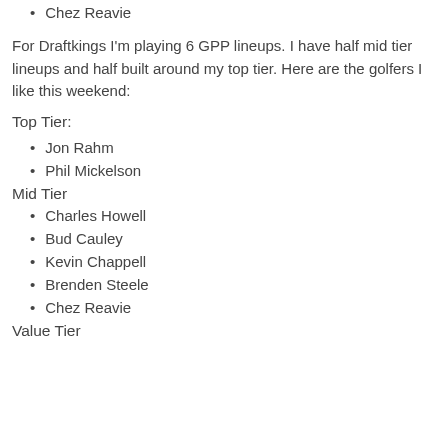Chez Reavie
For Draftkings I'm playing 6 GPP lineups. I have half mid tier lineups and half built around my top tier. Here are the golfers I like this weekend:
Top Tier:
Jon Rahm
Phil Mickelson
Mid Tier
Charles Howell
Bud Cauley
Kevin Chappell
Brenden Steele
Chez Reavie
Value Tier